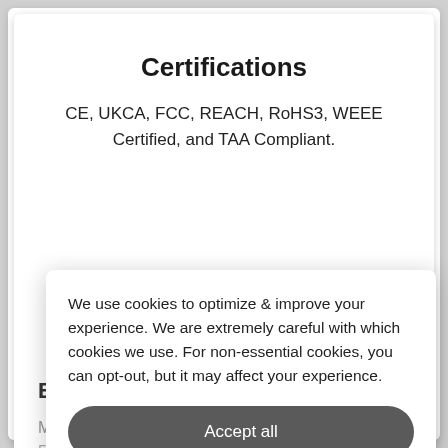Certifications
CE, UKCA, FCC, REACH, RoHS3, WEEE Certified, and TAA Compliant.
We use cookies to optimize & improve your experience. We are extremely careful with which cookies we use. For non-essential cookies, you can opt-out, but it may affect your experience.
Accept all
Opt-out preferences  Privacy Statement  Impressum
Built-to-last
MTBF (Mean Time Between Failure) of 50,000 Hours.